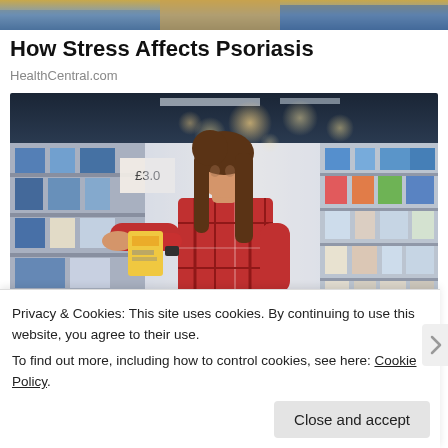[Figure (photo): Partially visible image at top of page showing yellow and blue tones, cropped]
How Stress Affects Psoriasis
HealthCentral.com
[Figure (photo): Woman in red plaid shirt reading a product label in a grocery store aisle, store shelves with products visible on both sides, bokeh lighting in background]
Privacy & Cookies: This site uses cookies. By continuing to use this website, you agree to their use.
To find out more, including how to control cookies, see here: Cookie Policy
Close and accept